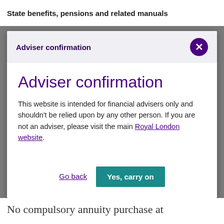State benefits, pensions and related manuals
Adviser confirmation
This website is intended for financial advisers only and shouldn't be relied upon by any other person. If you are not an adviser, please visit the main Royal London website.
No compulsory annuity purchase at